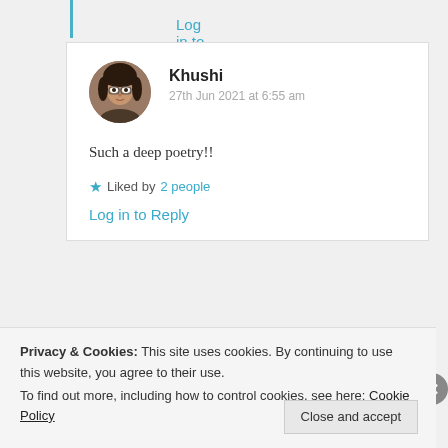Log in to Reply
[Figure (photo): Circular avatar photo of Khushi, a young woman with glasses and dark hair]
Khushi
27th Jun 2021 at 6:55 am
Such a deep poetry!!
Liked by 2 people
Log in to Reply
Privacy & Cookies: This site uses cookies. By continuing to use this website, you agree to their use.
To find out more, including how to control cookies, see here: Cookie Policy
Close and accept